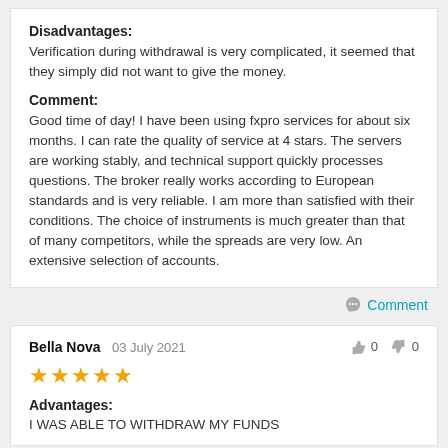Disadvantages:
Verification during withdrawal is very complicated, it seemed that they simply did not want to give the money.
Comment:
Good time of day! I have been using fxpro services for about six months. I can rate the quality of service at 4 stars. The servers are working stably, and technical support quickly processes questions. The broker really works according to European standards and is very reliable. I am more than satisfied with their conditions. The choice of instruments is much greater than that of many competitors, while the spreads are very low. An extensive selection of accounts.
Comment
Bella Nova 03 July 2021
[Figure (other): 5 gold stars rating]
Advantages:
I WAS ABLE TO WITHDRAW MY FUNDS